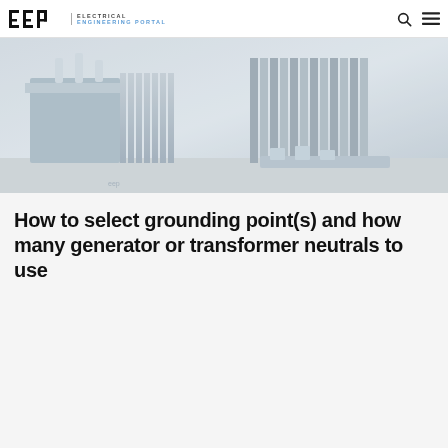EEP — Electrical Engineering Portal
[Figure (photo): Outdoor electrical transformer station, grey and silver equipment, industrial setting]
How to select grounding point(s) and how many generator or transformer neutrals to use